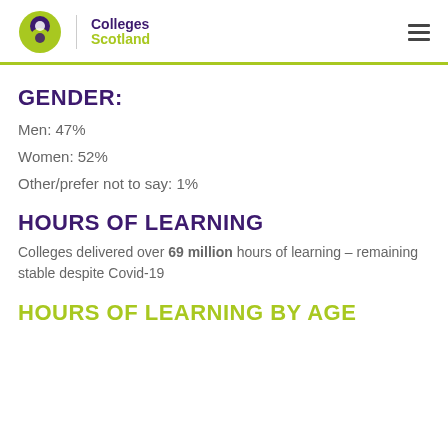Colleges Scotland
GENDER:
Men: 47%
Women: 52%
Other/prefer not to say: 1%
HOURS OF LEARNING
Colleges delivered over 69 million hours of learning – remaining stable despite Covid-19
HOURS OF LEARNING BY AGE